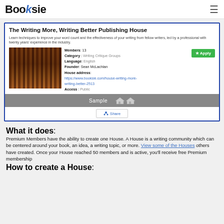Booksie
[Figure (screenshot): Screenshot of Booksie 'The Writing More, Writing Better Publishing House' page showing title, description, member info (Members: 13, Category: Writing Critique Groups, Language: English, Founder: Sean McLachlan, House address: https://www.booksie.com/house-writing-more-writing-better-2513, Access: Public), an Apply button, a library image, Sample bar, and Share button.]
What it does:
Premium Members have the ability to create one House. A House is a writing community which can be centered around your book, an idea, a writing topic, or more. View some of the Houses others have created. Once your House reached 50 members and is active, you'll receive free Premium membership
How to create a House: